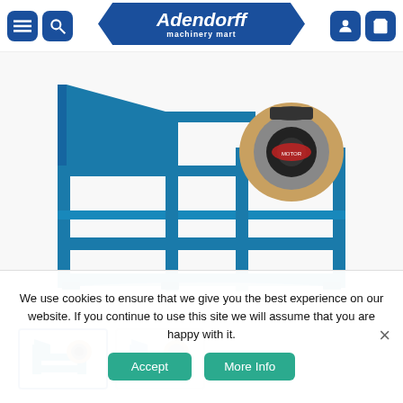Adendorff machinery mart - navigation bar
[Figure (photo): Blue industrial hammer mill / grinding machine on a steel frame stand, with an engine/motor mounted, viewed from the side at a 3/4 angle on a white background.]
[Figure (photo): Thumbnail 1: smaller blue hammer mill machine, selected (blue border)]
[Figure (photo): Thumbnail 2: smaller blue hammer mill machine, alternate view, inactive (grey border)]
We use cookies to ensure that we give you the best experience on our website. If you continue to use this site we will assume that you are happy with it.
Accept
More Info